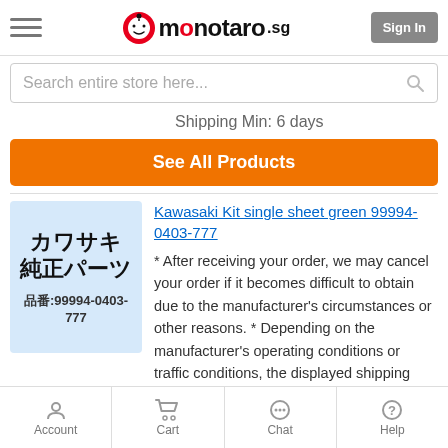monotaro.sg — Sign In
Search entire store here...
Shipping Min: 6 days
See All Products
[Figure (photo): Kawasaki genuine parts product image with Japanese text カワサキ 純正パーツ and part number 品番:99994-0403-777 on light blue background]
Kawasaki Kit single sheet green 99994-0403-777
* After receiving your order, we may cancel your order if it becomes difficult to obtain due to the manufacturer's circumstances or other reasons. * Depending on the manufacturer's operating conditions or traffic conditions, the displayed shipping guide may be delayed. * Some products may... Read
Account   Cart   Chat   Help